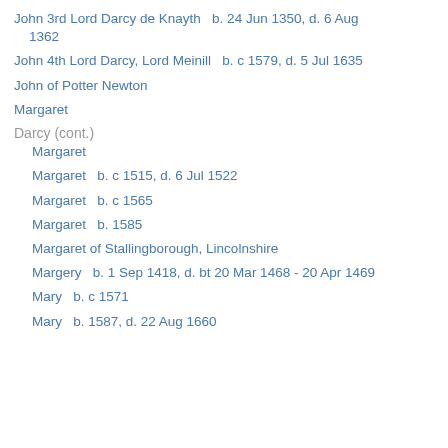John 3rd Lord Darcy de Knayth   b. 24 Jun 1350, d. 6 Aug 1362
John 4th Lord Darcy, Lord Meinill   b. c 1579, d. 5 Jul 1635
John of Potter Newton
Margaret
Darcy (cont.)
Margaret
Margaret   b. c 1515, d. 6 Jul 1522
Margaret   b. c 1565
Margaret   b. 1585
Margaret of Stallingborough, Lincolnshire
Margery   b. 1 Sep 1418, d. bt 20 Mar 1468 - 20 Apr 1469
Mary   b. c 1571
Mary   b. 1587, d. 22 Aug 1660